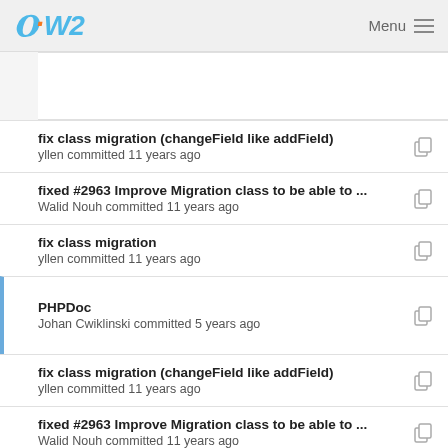OW2 Menu
fix class migration (changeField like addField)
yllen committed 11 years ago
fixed #2963 Improve Migration class to be able to ...
Walid Nouh committed 11 years ago
fix class migration
yllen committed 11 years ago
PHPDoc
Johan Cwiklinski committed 5 years ago
fix class migration (changeField like addField)
yllen committed 11 years ago
fixed #2963 Improve Migration class to be able to ...
Walid Nouh committed 11 years ago